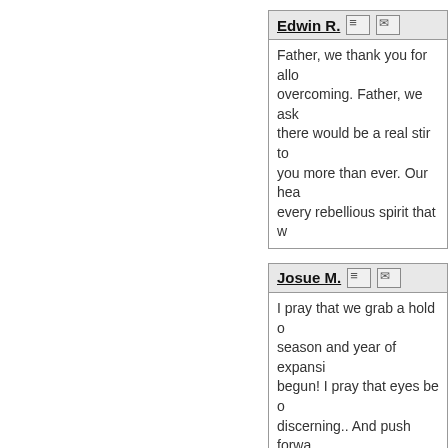Edwin R. [icon] Father, we thank you for all overcoming. Father, we ask there would be a real stir to you more than ever. Our he every rebellious spirit that w
Josue M. [icon] I pray that we grab a hold o season and year of expansi begun! I pray that eyes be o discerning.. And push forwa things to come into Devine o
Bridgette C. [icon] . Jeremiah 29:11, "For I know harm you, plans to give you care of, I pray we continue t and this movement we are a